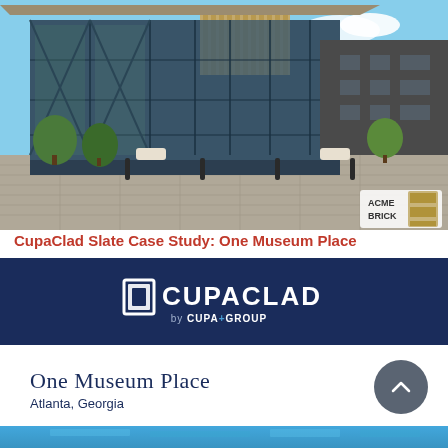[Figure (photo): Exterior photo of a modern commercial building with large glass curtain wall facade, wood/metal cladding panels, paved courtyard with bollards and trees. ACME BRICK logo watermark in lower right corner.]
CupaClad Slate Case Study: One Museum Place
[Figure (logo): CupaClad by CUPA GROUP logo on dark navy blue background. White stylized square bracket icon followed by CUPACLAD text, with 'by CUPA+GROUP' beneath in smaller text.]
One Museum Place
Atlanta, Georgia
[Figure (photo): Bottom strip showing partial photo - appears to be a close-up of slate/stone cladding material in blue tones.]